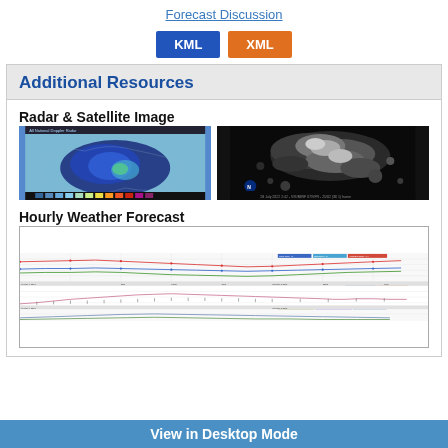Forecast Discussion
[Figure (other): KML and XML download buttons]
Additional Resources
Radar & Satellite Image
[Figure (photo): Radar image showing weather pattern over eastern US with blue/green precipitation]
[Figure (photo): Satellite image showing cloud cover over eastern US in black and white, with NOAA logo]
Hourly Weather Forecast
[Figure (line-chart): Hourly weather forecast chart showing temperature, dewpoint, and apparent temperature lines over time, plus wind and precipitation panels]
View in Desktop Mode